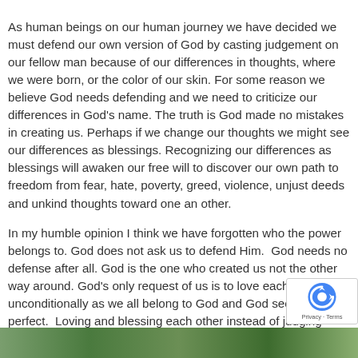As human beings on our human journey we have decided we must defend our own version of God by casting judgement on our fellow man because of our differences in thoughts, where we were born, or the color of our skin. For some reason we believe God needs defending and we need to criticize our differences in God's name. The truth is God made no mistakes in creating us. Perhaps if we change our thoughts we might see our differences as blessings. Recognizing our differences as blessings will awaken our free will to discover our own path to freedom from fear, hate, poverty, greed, violence, unjust deeds and unkind thoughts toward one an other.
In my humble opinion I think we have forgotten who the power belongs to. God does not ask us to defend Him.  God needs no defense after all. God is the one who created us not the other way around. God's only request of us is to love each other unconditionally as we all belong to God and God sees us all as perfect.  Loving and blessing each other instead of judging each other is what God asks of us. Let it begin with me. I love you all unconditionally. May God bless you, and comfort you and give you peace. And so it is. Amen!
[Figure (other): reCAPTCHA badge with Privacy and Terms links]
[Figure (photo): Partial nature/outdoor photo visible at bottom of page]